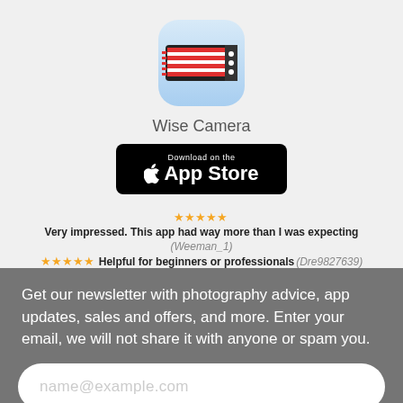[Figure (logo): Wise Camera app icon: rounded square with blue gradient background, featuring horizontal red and white stripes pattern resembling a camera/barcode scanner with dark frame and white dots on right side]
Wise Camera
[Figure (logo): Download on the App Store button: black rounded rectangle with Apple logo and text 'Download on the App Store']
★★★★★ Very impressed. This app had way more than I was expecting (Weeman_1)
★★★★★ Helpful for beginners or professionals (Dre9827639)
★★★★★ Can't find a better composition aid for landscape and travel photography (khl.anthony)
Get our newsletter with photography advice, app updates, sales and offers, and more. Enter your email, we will not share it with anyone or spam you.
name@example.com